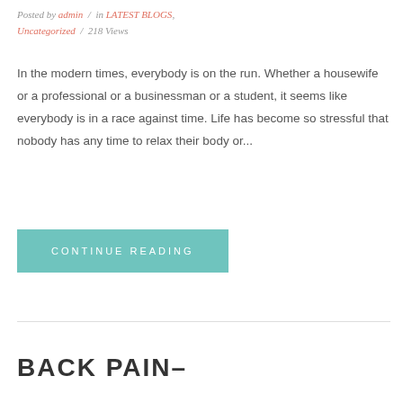Posted by admin / in LATEST BLOGS, Uncategorized / 218 Views
In the modern times, everybody is on the run. Whether a housewife or a professional or a businessman or a student, it seems like everybody is in a race against time. Life has become so stressful that nobody has any time to relax their body or...
CONTINUE READING
BACK PAIN–